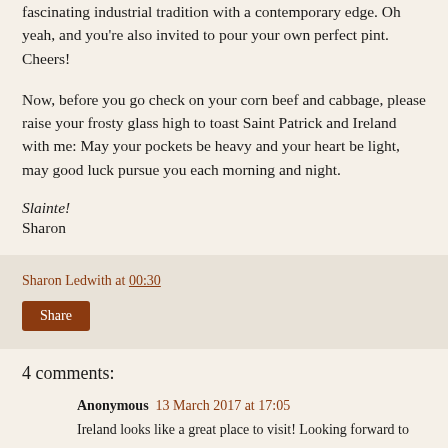fascinating industrial tradition with a contemporary edge. Oh yeah, and you're also invited to pour your own perfect pint. Cheers!
Now, before you go check on your corn beef and cabbage, please raise your frosty glass high to toast Saint Patrick and Ireland with me: May your pockets be heavy and your heart be light, may good luck pursue you each morning and night.
Slainte!
Sharon
Sharon Ledwith at 00:30
Share
4 comments:
Anonymous 13 March 2017 at 17:05
Ireland looks like a great place to visit! Looking forward to your